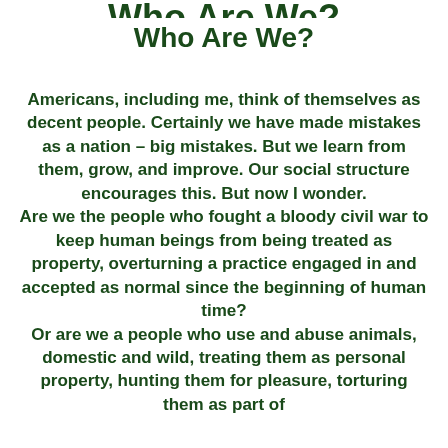Who Are We?
Who Are We?
Americans, including me, think of themselves as decent people.  Certainly we have made mistakes as a nation – big mistakes.  But we learn from them, grow, and improve.  Our social structure encourages this.  But now I wonder.
Are we the people who fought a bloody civil war to keep human beings from being treated as property, overturning a practice engaged in and accepted as normal since the beginning of human time?
Or are we a people who use and abuse animals, domestic and wild, treating them as personal property, hunting them for pleasure, torturing them as part of